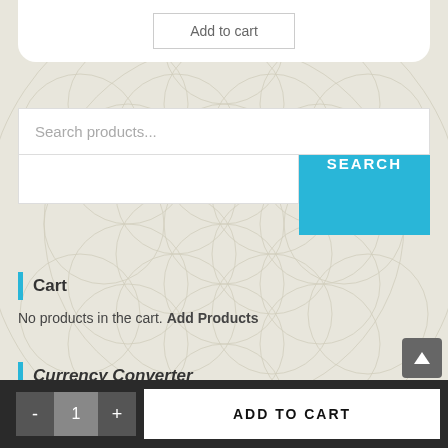[Figure (screenshot): White card panel at top with 'Add to cart' button]
Add to cart
[Figure (illustration): Flower of life sacred geometry pattern as page background]
Search products...
SEARCH
Cart
No products in the cart. Add Products
Currency Converter
ADD TO CART